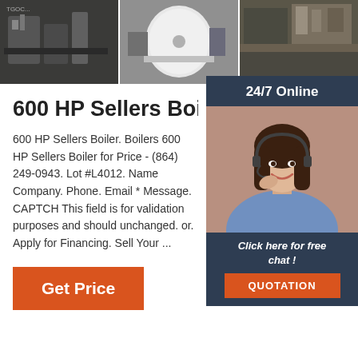[Figure (photo): Three industrial boiler photos in a horizontal strip at the top of the page]
600 HP Sellers Boiler For Sale
600 HP Sellers Boiler. Boilers 600 HP Sellers Boiler for Price - (864) 249-0943. Lot #L4012. Name Company. Phone. Email * Message. CAPTCHA This field is for validation purposes and should be unchanged. or. Apply for Financing. Sell Your ...
[Figure (infographic): 24/7 Online chat widget with woman wearing headset, 'Click here for free chat!' text, and orange QUOTATION button]
Get Price